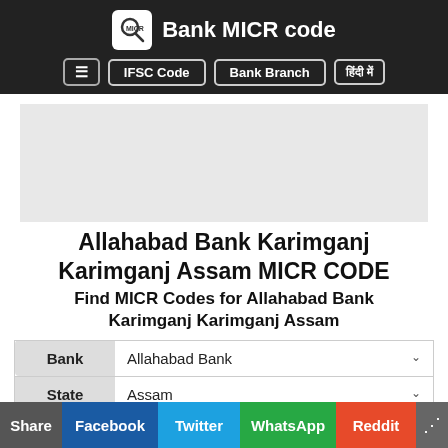Bank MICR code | IFSC Code | Bank Branch | हिंदी में
[Figure (screenshot): Advertisement placeholder area (gray box)]
Allahabad Bank Karimganj Karimganj Assam MICR CODE
Find MICR Codes for Allahabad Bank Karimganj Karimganj Assam
| Label | Value |
| --- | --- |
| Bank | Allahabad Bank |
| State | Assam |
Share | Facebook | Twitter | WhatsApp | Reddit